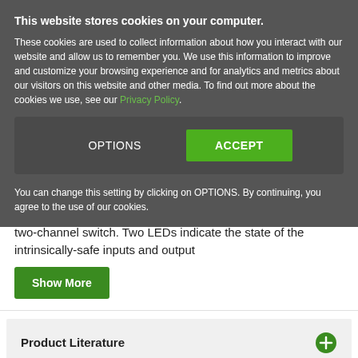This website stores cookies on your computer.
These cookies are used to collect information about how you interact with our website and allow us to remember you. We use this information to improve and customize your browsing experience and for analytics and metrics about our visitors on this website and other media. To find out more about the cookies we use, see our Privacy Policy.
OPTIONS | ACCEPT
You can change this setting by clicking on OPTIONS. By continuing, you agree to the use of our cookies.
two-channel switch. Two LEDs indicate the state of the intrinsically-safe inputs and output
Show More
Product Literature
Electrical Characteristics
Technical Resources